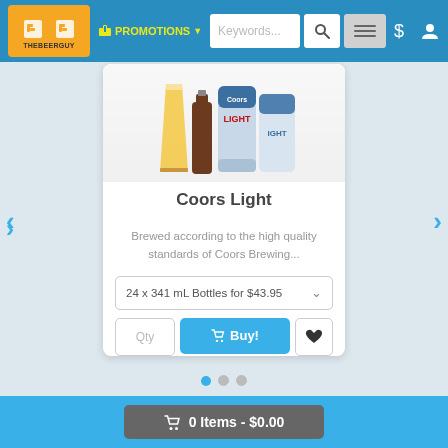THEBEERGUY | PROMOTIONS | Keywords... search | menu
[Figure (photo): Product photo showing Coors Light beer cans and a glass of beer]
Coors Light
Brewed according to the high quality standards of Coors Brewing...
24 x 341 mL Bottles for $43.95
Qty | Buy! | ♥
🛒 0 Items - $0.00